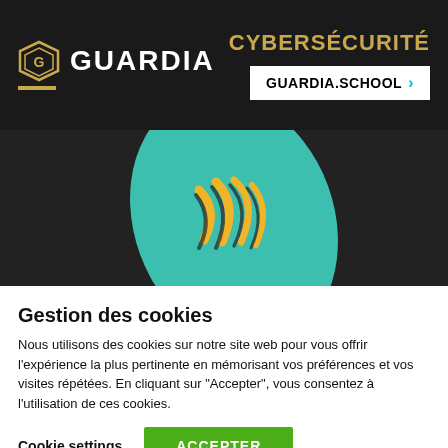[Figure (screenshot): Guardia cybersecurity school advertisement banner with dark background, Guardia logo on left with gold underline, CYBERSÉCURITÉ text in gold on right, and GUARDIA.SCHOOL > button in white box]
[Figure (illustration): Dark background image showing a teal/turquoise fingerprint or badge graphic with yellow/black curved line details, partially visible]
Gestion des cookies
Nous utilisons des cookies sur notre site web pour vous offrir l'expérience la plus pertinente en mémorisant vos préférences et vos visites répétées. En cliquant sur "Accepter", vous consentez à l'utilisation de ces cookies.
Cookie settings
ACCEPTER